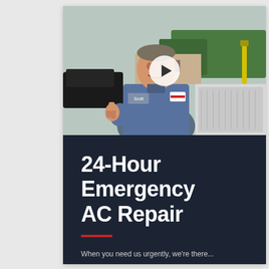[Figure (photo): HVAC technician in blue uniform shirt giving thumbs up, standing next to outdoor AC unit, with tools and green handle visible in background]
24-Hour Emergency AC Repair
When you need us urgently, we're there...